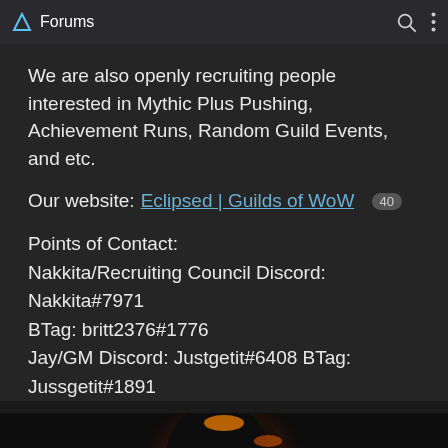Forums
We are also openly recruiting people interested in Mythic Plus Pushing, Achievement Runs, Random Guild Events, and etc.
Our website: Eclipsed | Guilds of WoW 40
Points of Contact:
Nakkita/Recruiting Council Discord: Nakkita#7971
BTag: britt2376#1776
Jay/GM Discord: Justgetit#6408 BTag:
Jussgetit#1891
[Figure (photo): Eclipse guild logo image showing a solar eclipse with 'Eclips' text visible, with a 1/93 counter overlay in bottom right]